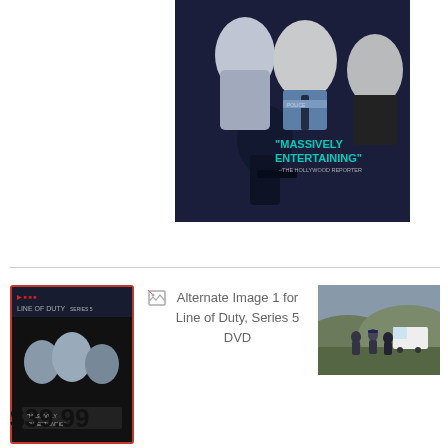[Figure (photo): Line of Duty Series 5 DVD cover showing three male actors in dark blue police thriller style, with a masked figure with a gun in background. Text reads 'MASSIVELY ENTERTAINING' -THE HOLLYWOOD REPORTER]
[Figure (photo): Thumbnail of Line of Duty Series 5 DVD cover with red border (selected state)]
Alternate Image 1 for Line of Duty, Series 5 DVD
[Figure (photo): Small alternate image showing three people in dark outdoor clothing, one in police uniform, standing in a hilly landscape with a white van]
$39.99